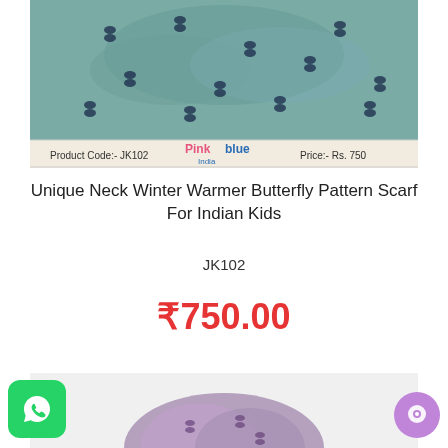[Figure (photo): Teal/green butterfly pattern neck warmer scarf product photo with label bar showing Product Code: JK102, Pink Blue India brand logo, Price: Rs. 750]
Unique Neck Winter Warmer Butterfly Pattern Scarf For Indian Kids
JK102
₹750.00
[Figure (photo): Partial view of another product (purple/pink colored kids item) at bottom of page]